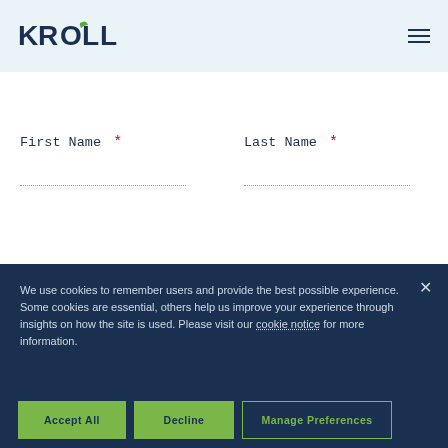[Figure (logo): Kroll logo with green leaf accent on the O]
First Name *
Last Name *
We use cookies to remember users and provide the best possible experience. Some cookies are essential, others help us improve your experience through insights on how the site is used. Please visit our cookie notice for more information.
Accept All
Decline
Manage Preferences